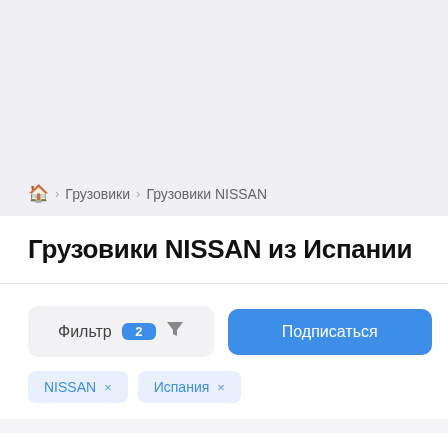🏠 > Грузовики > Грузовики NISSAN
Грузовики NISSAN из Испании
Фильтр 2 [filter icon]
Подписаться
NISSAN ×
Испания ×
Грузовики NISSAN из Испании: 43 объявления